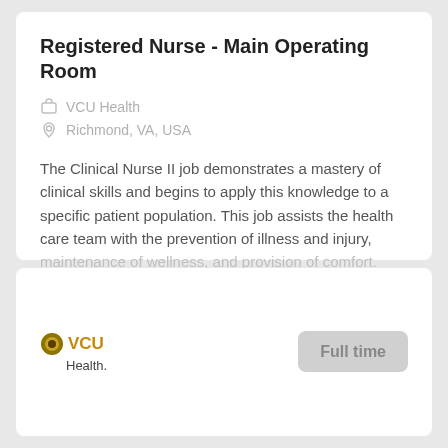Registered Nurse - Main Operating Room
VCU Health
Richmond, VA, USA
The Clinical Nurse II job demonstrates a mastery of clinical skills and begins to apply this knowledge to a specific patient population. This job assists the health care team with the prevention of illness and injury, maintenance of wellness, and provision of comfort.
Aug 16, 2022
[Figure (logo): VCU Health logo with golden circular emblem and text]
Full time